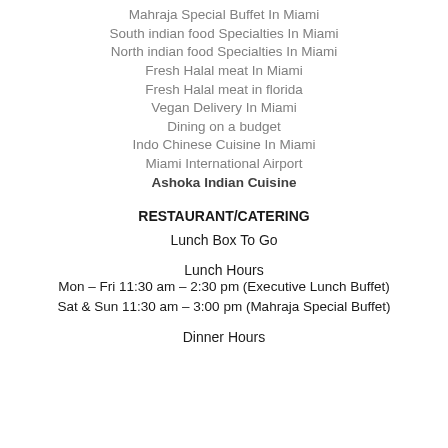Mahraja Special Buffet In Miami
South indian food Specialties In Miami
North indian food Specialties In Miami
Fresh Halal meat In Miami
Fresh Halal meat in florida
Vegan Delivery In Miami
Dining on a budget
Indo Chinese Cuisine In Miami
Miami International Airport
Ashoka Indian Cuisine
RESTAURANT/CATERING
Lunch Box To Go
Lunch Hours
Mon – Fri 11:30 am – 2:30 pm (Executive Lunch Buffet)
Sat & Sun 11:30 am – 3:00 pm (Mahraja Special Buffet)
Dinner Hours